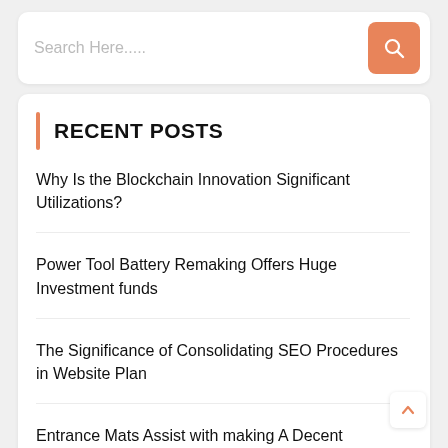[Figure (screenshot): Search bar with placeholder text 'Search Here.....' and an orange search button with magnifying glass icon]
RECENT POSTS
Why Is the Blockchain Innovation Significant Utilizations?
Power Tool Battery Remaking Offers Huge Investment funds
The Significance of Consolidating SEO Procedures in Website Plan
Entrance Mats Assist with making A Decent Impression